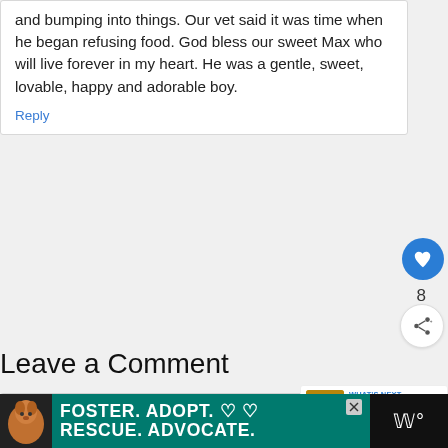and bumping into things. Our vet said it was time when he began refusing food. God bless our sweet Max who will live forever in my heart. He was a gentle, sweet, lovable, happy and adorable boy.
Reply
8
Leave a Comment
[Figure (infographic): Advertisement banner: dog photo on left, teal background with text FOSTER. ADOPT. RESCUE. ADVOCATE. with heart icons, close button, and brand logo on right.]